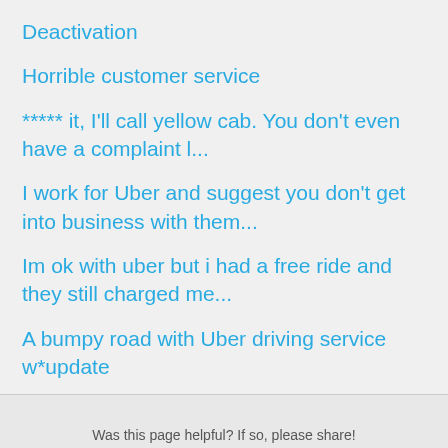Deactivation
Horrible customer service
***** it, I'll call yellow cab. You don't even have a complaint l...
I work for Uber and suggest you don't get into business with them...
Im ok with uber but i had a free ride and they still charged me...
A bumpy road with Uber driving service w*update
Was this page helpful? If so, please share!